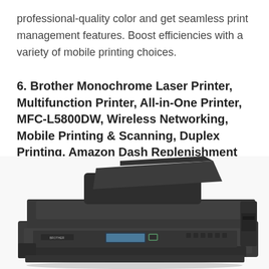professional-quality color and get seamless print management features. Boost efficiencies with a variety of mobile printing choices.
6. Brother Monochrome Laser Printer, Multifunction Printer, All-in-One Printer, MFC-L5800DW, Wireless Networking, Mobile Printing & Scanning, Duplex Printing, Amazon Dash Replenishment Enabled
[Figure (photo): Photo of Brother MFC-L5800DW monochrome laser all-in-one printer, showing the top-loading automatic document feeder open, flatbed scanner lid, control panel with display screen and buttons, and paper tray. The printer is dark grey/black in color.]